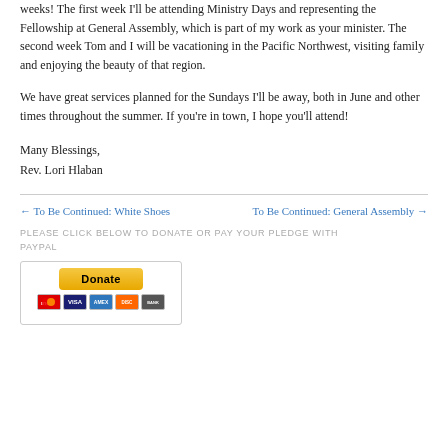weeks! The first week I'll be attending Ministry Days and representing the Fellowship at General Assembly, which is part of my work as your minister. The second week Tom and I will be vacationing in the Pacific Northwest, visiting family and enjoying the beauty of that region.
We have great services planned for the Sundays I'll be away, both in June and other times throughout the summer. If you're in town, I hope you'll attend!
Many Blessings,
Rev. Lori Hlaban
← To Be Continued: White Shoes
To Be Continued: General Assembly →
PLEASE CLICK BELOW TO DONATE OR PAY YOUR PLEDGE WITH PAYPAL
[Figure (other): PayPal Donate button with credit card icons (Visa, MasterCard, Amex, Discover, Bank)]